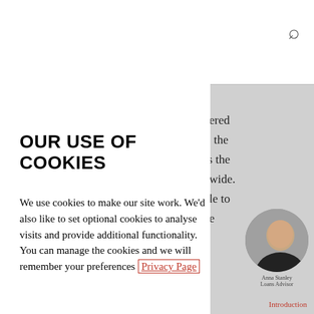OUR USE OF COOKIES
We use cookies to make our site work. We'd also like to set optional cookies to analyse visits and provide additional functionality. You can manage the cookies and we will remember your preferences Privacy Page
Manage cookies
Accept cookies